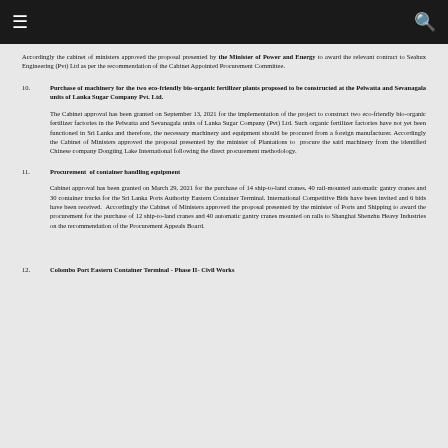≡  🔍
Accordingly the cabinet of ministers approved the proposal presented by the Minister of Power and Energy to award the relevant contract to Seahux Engineering (Pvt) Ltd as per the recommendation of the Cabinet Appointed Procurement Committee.
10. Purchase of machinery for the two eco-friendly bio-organic fertilizer plants proposed to be constructed at the Pelwatta and Sevanagala units of Lanka Sugar Company Pvt. Ltd.
The Cabinet approval has been granted on September 13, 2021 for the implementation of the project to construct two eco-friendly bio-organic fertilizer factories in the Pelwatta and Sevanagala units of Lanka Sugar Company (Pvt) Ltd. Such organic fertilizer factories have not yet been functioned in Sri Lanka and therefore, the necessary machinery and equipment should be procured from a foreign manufacturer. Accordingly the Cabinet of Ministers approved the proposal presented by the minister of Plantations to procure the said machinery from the identified Chinese company Dongting Lake International following the direct procurement methodology.
11. Procurement of container handling equipment
Cabinet approval has been granted on March 29, 2021 for the purchase of 14 ship-to-land cranes, 40 rail-mounted automatic gantry cranes and 30 container trucks for the Sri Lanka Ports Authority Eastern Container Terminal. International Competitive Bids have been invited and 6 bids have been received. Accordingly the Cabinet of Ministers approved the proposal presented by the minister of Ports and Shipping to award the procurement for the purchase of 12 ship-to-land cranes and 40 automatic gantry cranes mounted on rails to Shanghai Shenzhu Heavy Industries on the recommendation of the Procurement Appeals Board.
12. Colombo Port Eastern Container Terminal - Phase II- Civil Works